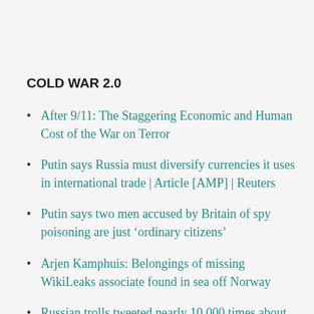COLD WAR 2.0
After 9/11: The Staggering Economic and Human Cost of the War on Terror
Putin says Russia must diversify currencies it uses in international trade | Article [AMP] | Reuters
Putin says two men accused by Britain of spy poisoning are just ‘ordinary citizens’
Arjen Kamphuis: Belongings of missing WikiLeaks associate found in sea off Norway
Russian trolls tweeted nearly 10,000 times about the ACA